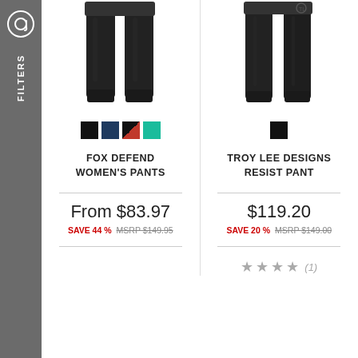[Figure (photo): Black mountain bike pants (Fox Defend Women's Pants) shown from waist down, legs, and ankles]
[Figure (photo): Black mountain bike pants (Troy Lee Designs Resist Pant) shown from waist down with brand logo visible]
FOX DEFEND WOMEN'S PANTS
TROY LEE DESIGNS RESIST PANT
From $83.97
SAVE 44 % MSRP $149.95
$119.20
SAVE 20 % MSRP $149.00
★★★★ (1)